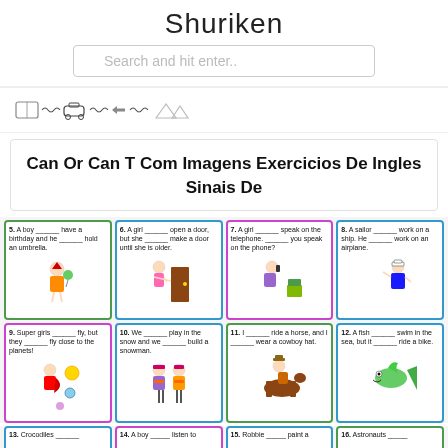Shuriken
Search and hit enter..
[Figure (illustration): Partial worksheet strip showing small illustrations of a book, car and wavy lines]
3. Look and write the answer into the bubbles.
Can Or Can T Com Imagens Exercicios De Ingles Sinais De
[Figure (illustration): Exercise worksheet grid showing 12 cells (5-16) with can/can't fill-in-the-blank sentences and cartoon illustrations]
13. Crocodiles ______
14. A boy _____ listen to
15. Robbie _____ paint a
16. Astronauts _____